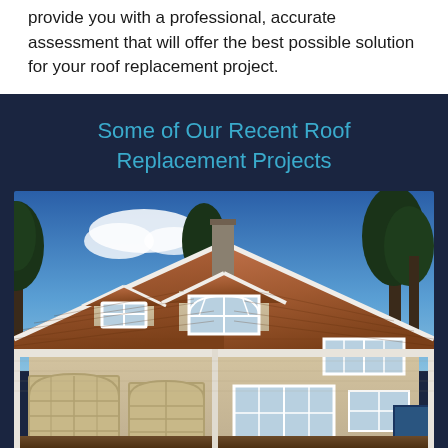provide you with a professional, accurate assessment that will offer the best possible solution for your roof replacement project.
Some of Our Recent Roof Replacement Projects
[Figure (photo): Exterior photo of a large two-story residential house with a brown/cedar shake roof, beige siding, white trim, arched garage doors, multiple dormers and large windows, set against a blue sky with trees in the background.]